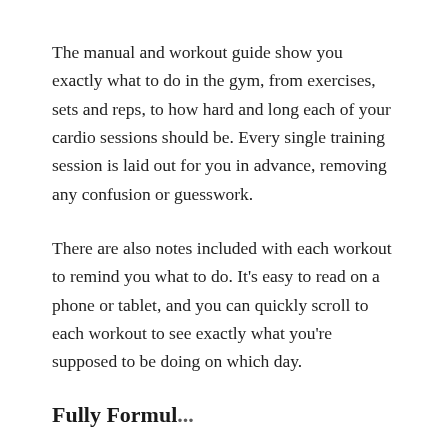The manual and workout guide show you exactly what to do in the gym, from exercises, sets and reps, to how hard and long each of your cardio sessions should be. Every single training session is laid out for you in advance, removing any confusion or guesswork.
There are also notes included with each workout to remind you what to do. It's easy to read on a phone or tablet, and you can quickly scroll to each workout to see exactly what you're supposed to be doing on which day.
Fully Formulated...